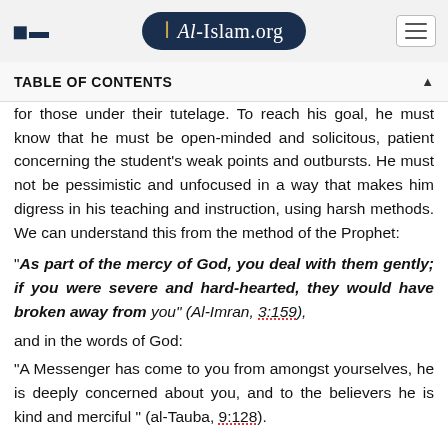Al-Islam.org
TABLE OF CONTENTS
for those under their tutelage. To reach his goal, he must know that he must be open-minded and solicitous, patient concerning the student's weak points and outbursts. He must not be pessimistic and unfocused in a way that makes him digress in his teaching and instruction, using harsh methods. We can understand this from the method of the Prophet:
"As part of the mercy of God, you deal with them gently; if you were severe and hard-hearted, they would have broken away from you" (Al-Imran, 3:159),
and in the words of God:
"A Messenger has come to you from amongst yourselves, he is deeply concerned about you, and to the believers he is kind and merciful" (al-Tauba, 9:128).